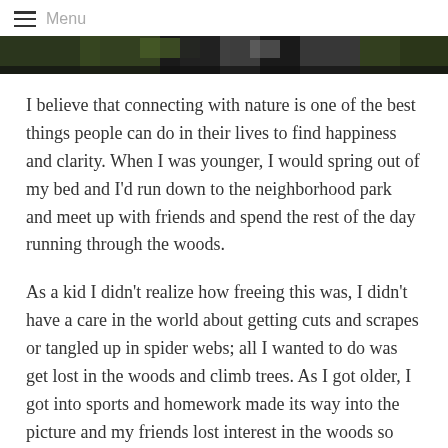Menu
[Figure (photo): A dark nature/woods photo strip used as a hero banner image]
I believe that connecting with nature is one of the best things people can do in their lives to find happiness and clarity. When I was younger, I would spring out of my bed and I'd run down to the neighborhood park and meet up with friends and spend the rest of the day running through the woods.
As a kid I didn't realize how freeing this was, I didn't have a care in the world about getting cuts and scrapes or tangled up in spider webs; all I wanted to do was get lost in the woods and climb trees. As I got older, I got into sports and homework made its way into the picture and my friends lost interest in the woods so naturally so did I.